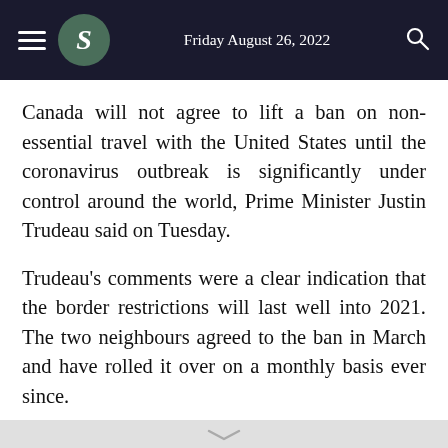Friday August 26, 2022
Canada will not agree to lift a ban on non-essential travel with the United States until the coronavirus outbreak is significantly under control around the world, Prime Minister Justin Trudeau said on Tuesday.
Trudeau's comments were a clear indication that the border restrictions will last well into 2021. The two neighbours agreed to the ban in March and have rolled it over on a monthly basis ever since.
The ban does not affect trade. The two countries have highly integrated economies and Canada